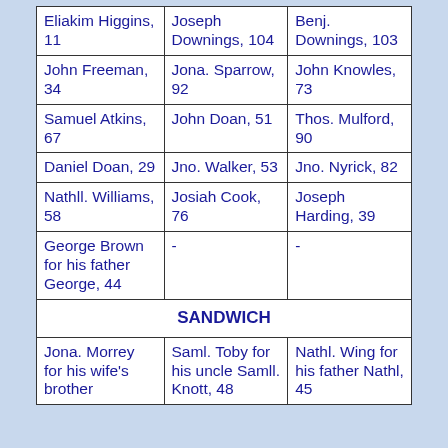|  |  |  |
| --- | --- | --- |
| Eliakim Higgins, 11 | Joseph Downings, 104 | Benj. Downings, 103 |
| John Freeman, 34 | Jona. Sparrow, 92 | John Knowles, 73 |
| Samuel Atkins, 67 | John Doan, 51 | Thos. Mulford, 90 |
| Daniel Doan, 29 | Jno. Walker, 53 | Jno. Nyrick, 82 |
| Nathll. Williams, 58 | Josiah Cook, 76 | Joseph Harding, 39 |
| George Brown for his father George, 44 | - | - |
| SANDWICH (merged) |  |  |
| Jona. Morrey for his wife's brother | Saml. Toby for his uncle Samll. Knott, 48 | Nathl. Wing for his father Nathl, 45 |